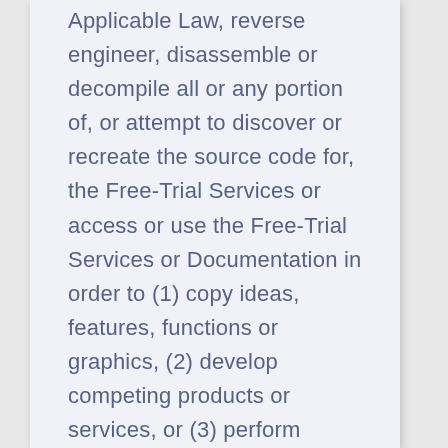Applicable Law, reverse engineer, disassemble or decompile all or any portion of, or attempt to discover or recreate the source code for, the Free-Trial Services or access or use the Free-Trial Services or Documentation in order to (1) copy ideas, features, functions or graphics, (2) develop competing products or services, or (3) perform competitive analyses; (g) remove, obscure or alter any proprietary notice related to the